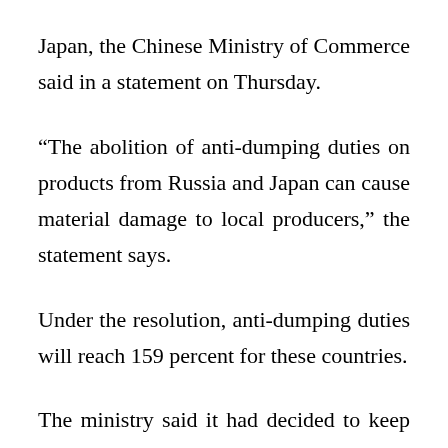Japan, the Chinese Ministry of Commerce said in a statement on Thursday.
“The abolition of anti-dumping duties on products from Russia and Japan can cause material damage to local producers,” the statement says.
Under the resolution, anti-dumping duties will reach 159 percent for these countries.
The ministry said it had decided to keep the